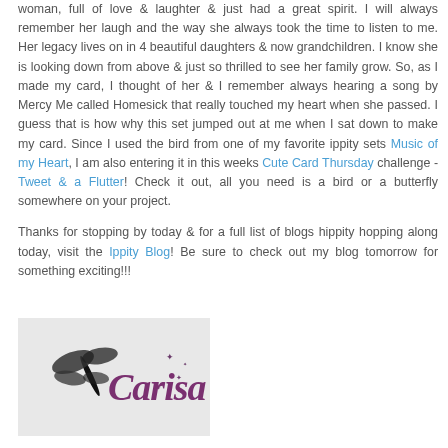woman, full of love & laughter & just had a great spirit. I will always remember her laugh and the way she always took the time to listen to me. Her legacy lives on in 4 beautiful daughters & now grandchildren. I know she is looking down from above & just so thrilled to see her family grow. So, as I made my card, I thought of her & I remember always hearing a song by Mercy Me called Homesick that really touched my heart when she passed. I guess that is how why this set jumped out at me when I sat down to make my card. Since I used the bird from one of my favorite ippity sets Music of my Heart, I am also entering it in this weeks Cute Card Thursday challenge - Tweet & a Flutter! Check it out, all you need is a bird or a butterfly somewhere on your project.
Thanks for stopping by today & for a full list of blogs hippity hopping along today, visit the Ippity Blog! Be sure to check out my blog tomorrow for something exciting!!!
[Figure (logo): Signature logo with dragonfly and cursive text reading 'Carisa' with stars, on a light gray background]